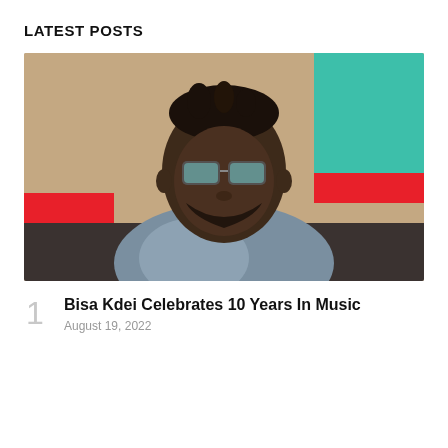LATEST POSTS
[Figure (photo): Portrait photo of a man wearing sunglasses and a denim-style shirt with a gold necklace, outdoors with colorful background]
Bisa Kdei Celebrates 10 Years In Music
August 19, 2022